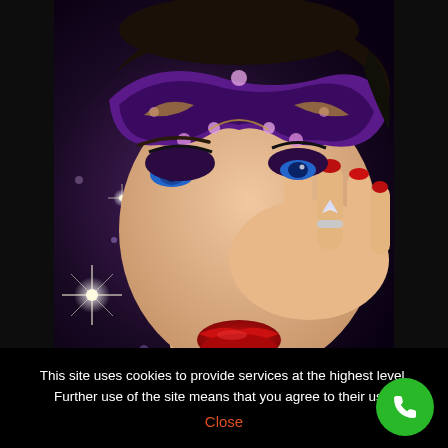[Figure (photo): A glamorous woman wearing an ornate purple and black masquerade mask with pink jewel embellishments, red lipstick, blue eyes, red nail polish, touching her face with one hand wearing a large diamond ring, with sparkling bokeh effects in the background]
This site uses cookies to provide services at the highest level. Further use of the site means that you agree to their use.
Close